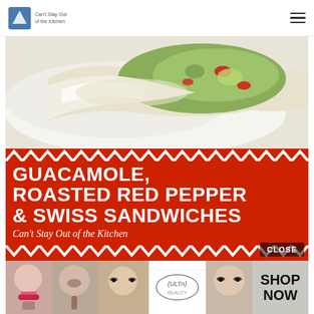Can't Stay Out of the Kitchen
[Figure (photo): Close-up food photo showing a sandwich or dish with white melted cheese/sauce and colorful guacamole toppings with red and green ingredients on a white plate]
[Figure (illustration): Red banner with white chevron/zigzag borders top and bottom. Bold white uppercase text reads: GUACAMOLE, ROASTED RED PEPPER & SWISS SANDWICHES. Italic script below reads: Can't Stay Out of the Kitchen. Close button in lower right corner.]
[Figure (photo): Advertising strip showing beauty/makeup photos and the Ulta Beauty logo, with a 'SHOP NOW' button on the right]